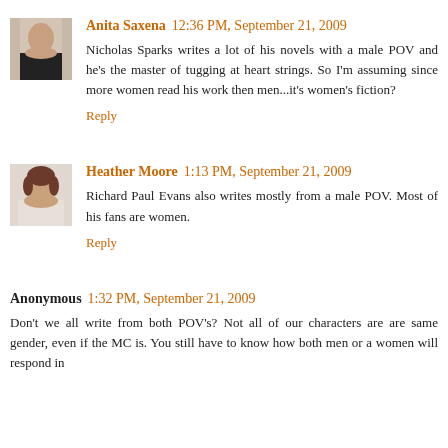Anita Saxena 12:36 PM, September 21, 2009
Nicholas Sparks writes a lot of his novels with a male POV and he's the master of tugging at heart strings. So I'm assuming since more women read his work then men...it's women's fiction?
Reply
Heather Moore 1:13 PM, September 21, 2009
Richard Paul Evans also writes mostly from a male POV. Most of his fans are women.
Reply
Anonymous 1:32 PM, September 21, 2009
Don't we all write from both POV's? Not all of our characters are are same gender, even if the MC is. You still have to know how both men or a women will respond in